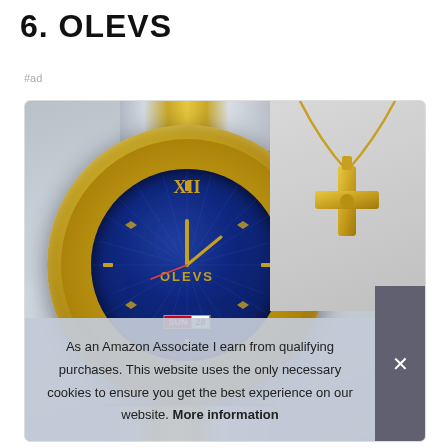6. OLEVS
#ad
[Figure (photo): Product photo showing an OLEVS men's watch with blue dial, gold diamond bezel, and silver-gold two-tone bracelet, alongside a gold cross necklace pendant on a gold chain.]
As an Amazon Associate I earn from qualifying purchases. This website uses the only necessary cookies to ensure you get the best experience on our website. More information